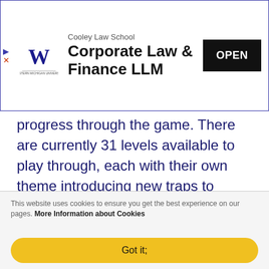[Figure (other): Advertisement banner for Cooley Law School Corporate Law & Finance LLM program with logo and OPEN button]
progress through the game. There are currently 31 levels available to play through, each with their own theme introducing new traps to dodge and level mechanics to master. The indie developers behind the game hope to continue to build out the game's content by taking music submitted by users and designing new levels around those tracks. While the game does incentivize you to revisit levels and try and beat them clean in one try or better sync your
This website uses cookies to ensure you get the best experience on our pages. More Information about Cookies
Got it;